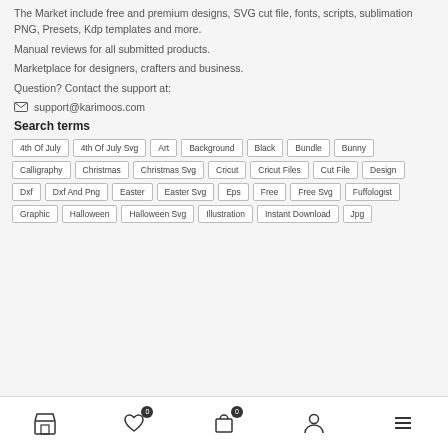The Market include free and premium designs, SVG cut file, fonts, scripts, sublimation PNG, Presets, Kdp templates and more.
Manual reviews for all submitted products.
Marketplace for designers, crafters and business.
Question? Contact the support at:
support@karimoos.com
Search terms
4th Of July
4th Of July Svg
Art
Background
Black
Bundle
Bunny
Calligraphy
Christmas
Christmas Svg
Cricut
Cricut Files
Cut File
Design
Dxf
Dxf And Png
Easter
Easter Svg
Eps
Free
Free Svg
Fuffologist
Graphic
Halloween
Halloween Svg
Illustration
Instant Download
Jpg
Navigation bar with store, wishlist (0), cart (0), account, menu icons